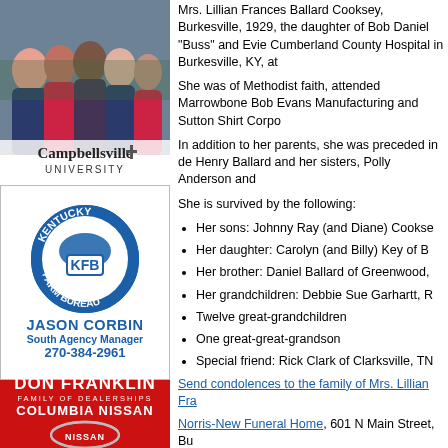[Figure (photo): Campbellsville University advertisement with group photo of students and university logo/text]
[Figure (logo): Kentucky Farm Bureau advertisement with KFB circular logo, JASON CORBIN South Agency Manager, 270-384-2961]
[Figure (logo): Don Franklin Family of Dealerships Columbia Nissan advertisement with Nissan logo on red background]
Mrs. Lillian Frances Ballard Cooksey, Burkesville, 1929, the daughter of Bob Daniel "Buss" and Evie Cumberland County Hospital in Burkesville, KY, at
She was of Methodist faith, attended Marrowbone Bob Evans Manufacturing and Sutton Shirt Corpo
In addition to her parents, she was preceded in de Henry Ballard and her sisters, Polly Anderson and
She is survived by the following:
Her sons: Johnny Ray (and Diane) Cookse
Her daughter: Carolyn (and Billy) Key of B
Her brother: Daniel Ballard of Greenwood,
Her grandchildren: Debbie Sue Garhartt, R
Twelve great-grandchildren
One great-great-grandson
Special friend: Rick Clark of Clarksville, TN
Send condolences to the family of Mrs. Lillian Fra
Norris-New Funeral Home, 601 N Main Street, Bu
This story was posted on 2015-06-06 04:01:13
Printable: this page is now automatically formatted fo